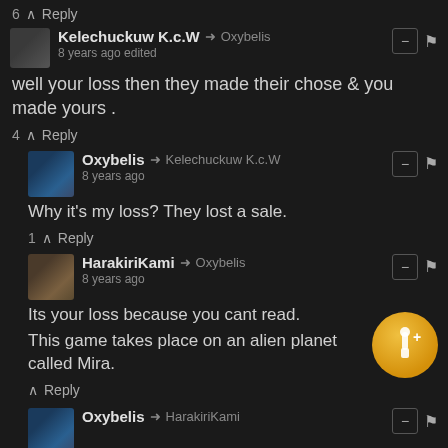6 ^ Reply
Kelechuckuw K.c.W → Oxybelis
8 years ago edited
well your loss then they made their chose & you made yours .
4 ^ Reply
Oxybelis → Kelechuckuw K.c.W
8 years ago
Why it's my loss? They lost a sale.
1 ^ Reply
HarakiriKami → Oxybelis
8 years ago
Its your loss because you cant read.

This game takes place on an alien planet called Mira.
^ Reply
Oxybelis → HarakiriKami